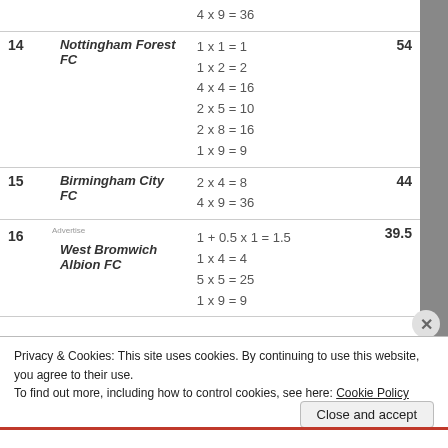| # | Club | Calculation | Total |
| --- | --- | --- | --- |
|  |  | 4 x 9 = 36 |  |
| 14 | Nottingham Forest FC | 1 x 1 = 1
1 x 2 = 2
4 x 4 = 16
2 x 5 = 10
2 x 8 = 16
1 x 9 = 9 | 54 |
| 15 | Birmingham City FC | 2 x 4 = 8
4 x 9 = 36 | 44 |
| 16 | West Bromwich Albion FC | 1 + 0.5 x 1 = 1.5
1 x 4 = 4
5 x 5 = 25
1 x 9 = 9 | 39.5 |
Privacy & Cookies: This site uses cookies. By continuing to use this website, you agree to their use.
To find out more, including how to control cookies, see here: Cookie Policy
Close and accept